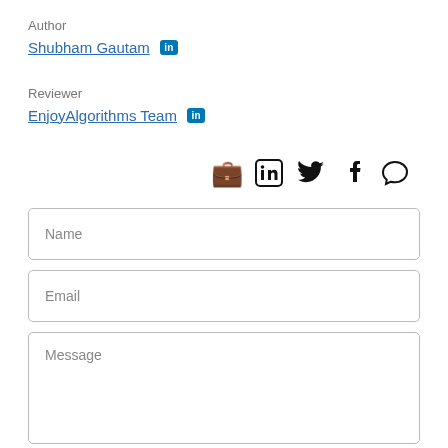Author
Shubham Gautam [LinkedIn]
Reviewer
EnjoyAlgorithms Team [LinkedIn]
[Figure (other): Social media icons: LinkedIn, Twitter, Facebook, Chat/Comment]
Name
Email
Message